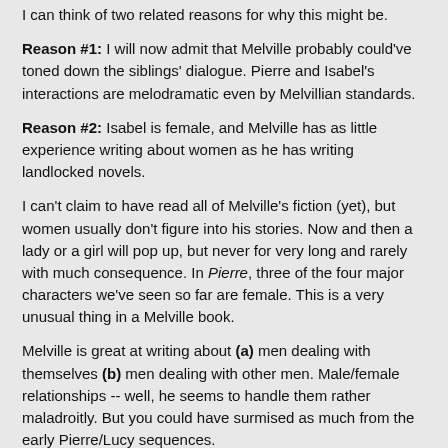I can think of two related reasons for why this might be.
Reason #1: I will now admit that Melville probably could've toned down the siblings' dialogue. Pierre and Isabel's interactions are melodramatic even by Melvillian standards.
Reason #2: Isabel is female, and Melville has as little experience writing about women as he has writing landlocked novels.
I can't claim to have read all of Melville's fiction (yet), but women usually don't figure into his stories. Now and then a lady or a girl will pop up, but never for very long and rarely with much consequence. In Pierre, three of the four major characters we've seen so far are female. This is a very unusual thing in a Melville book.
Melville is great at writing about (a) men dealing with themselves (b) men dealing with other men. Male/female relationships -- well, he seems to handle them rather maladroitly. But you could have surmised as much from the early Pierre/Lucy sequences.